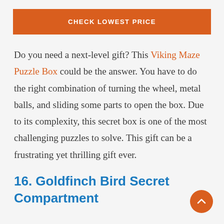CHECK LOWEST PRICE
Do you need a next-level gift? This Viking Maze Puzzle Box could be the answer. You have to do the right combination of turning the wheel, metal balls, and sliding some parts to open the box. Due to its complexity, this secret box is one of the most challenging puzzles to solve. This gift can be a frustrating yet thrilling gift ever.
16. Goldfinch Bird Secret Compartment